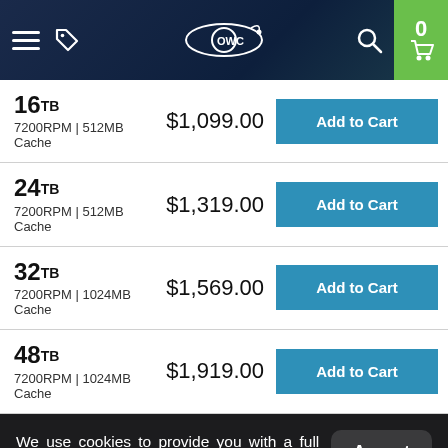[Figure (screenshot): OWC website navigation bar with hamburger menu, tag icon, OWC logo, search icon, and green cart icon showing 0 items]
| Capacity | Spec | Price | Action |
| --- | --- | --- | --- |
| 16TB | 7200RPM | 512MB Cache | $1,099.00 | Add to Cart |
| 24TB | 7200RPM | 512MB Cache | $1,319.00 | Add to Cart |
| 32TB | 7200RPM | 1024MB Cache | $1,569.00 | Add to Cart |
| 48TB | 7200RPM | 1024MB Cache | $1,919.00 | Add to Cart |
We use cookies to provide you with a full shopping experience, including personalized content, and to help us improve your experience. Learn more. By continuing to use our site, you accept our use of Cookies, Privacy Policy and Terms of Use.